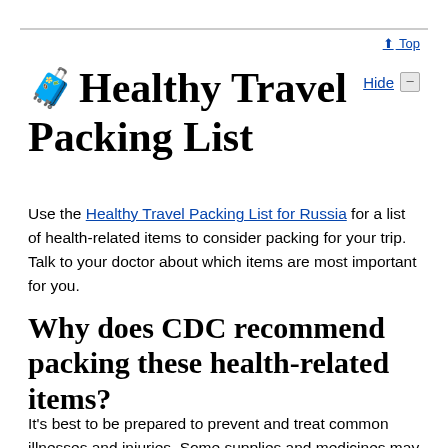↑ Top
🧳 Healthy Travel Packing List
Use the Healthy Travel Packing List for Russia for a list of health-related items to consider packing for your trip. Talk to your doctor about which items are most important for you.
Why does CDC recommend packing these health-related items?
It's best to be prepared to prevent and treat common illnesses and injuries. Some supplies and medicines may be difficult to find at your destination, may have different names, or may have different ingredients than...